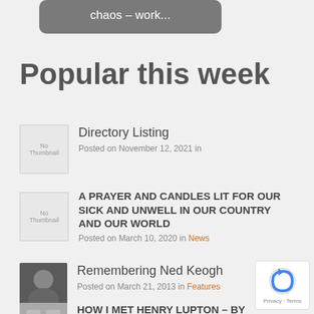[Figure (screenshot): Partial top card with grey rounded rectangle containing text 'chaos – work...']
Popular this week
Directory Listing — Posted on November 12, 2021 in
A PRAYER AND CANDLES LIT FOR OUR SICK AND UNWELL IN OUR COUNTRY AND OUR WORLD — Posted on March 10, 2020 in News
Remembering Ned Keogh — Posted on March 21, 2013 in Features
HOW I MET HENRY LUPTON – By